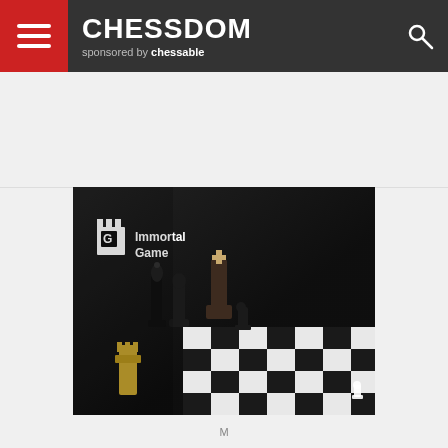CHESSDOM sponsored by chessable
[Figure (photo): Immortal Game logo and chess pieces on a black and white chessboard with dramatic lighting. Logo shows a white rook icon with 'Immortal Game' text in white on a dark background.]